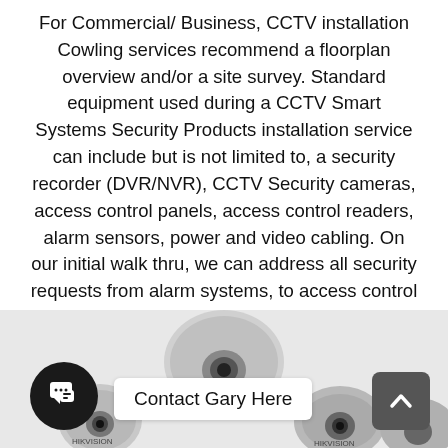For Commercial/ Business, CCTV installation Cowling services recommend a floorplan overview and/or a site survey. Standard equipment used during a CCTV Smart Systems Security Products installation service can include but is not limited to, a security recorder (DVR/NVR), CCTV Security cameras, access control panels, access control readers, alarm sensors, power and video cabling. On our initial walk thru, we can address all security requests from alarm systems, to access control to surveillance. During our walk-through and consultation, our installers will create, design and estimate the system that will best fit your budget and CCTV Installation security requirements.
[Figure (photo): Photo of multiple CCTV/security cameras including dome and PTZ cameras, shown in grayscale/black and white. Overlaid UI elements: a dark circular chat widget with speech bubble icon bottom-left, a white 'Contact Gary Here' button in the center-bottom area, and a gray scroll-to-top arrow button bottom-right.]